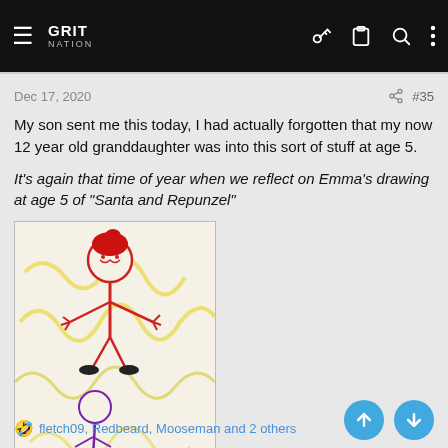≡ GRIT NATION  [key icon] [clipboard icon] [search icon] [more icon]
Dec 17, 2020   #35
My son sent me this today, I had actually forgotten that my now 12 year old granddaughter was into this sort of stuff at age 5.
It's again that time of year when we reflect on Emma's drawing at age 5 of "Santa and Repunzel"
[Figure (illustration): A child's crayon drawing on white paper with yellow scribbles in the background. Shows a stick figure person drawn in red with a red blob for a head/hat, with arms and legs. Below the main figure there appears to be another figure drawn in purple/blue near the bottom.]
🤣 fletch09, Redbeard, Mooseman and 2 others